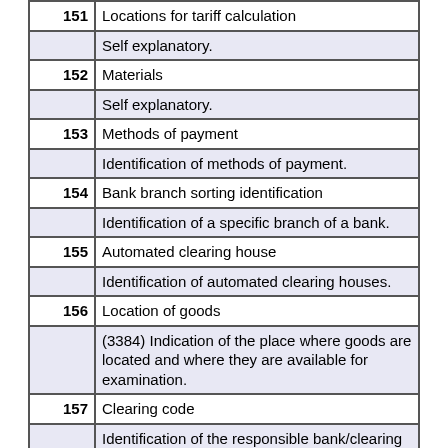| Code | Description |
| --- | --- |
| 151 | Locations for tariff calculation |
|  | Self explanatory. |
| 152 | Materials |
|  | Self explanatory. |
| 153 | Methods of payment |
|  | Identification of methods of payment. |
| 154 | Bank branch sorting identification |
|  | Identification of a specific branch of a bank. |
| 155 | Automated clearing house |
|  | Identification of automated clearing houses. |
| 156 | Location of goods |
|  | (3384) Indication of the place where goods are located and where they are available for examination. |
| 157 | Clearing code |
|  | Identification of the responsible bank/clearing house which has cleared or is ordered to do the clearing. |
| 158 | Terms of delivery |
|  | Code to identify terms of delivery. |
| 160 | Party identification |
|  | Identification of parties pursuant to... |